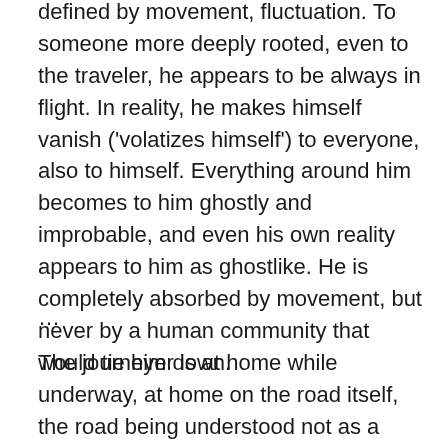defined by movement, fluctuation. To someone more deeply rooted, even to the traveler, he appears to be always in flight. In reality, he makes himself vanish ('volatizes himself') to everyone, also to himself. Everything around him becomes to him ghostly and improbable, and even his own reality appears to him as ghostlike. He is completely absorbed by movement, but never by a human community that would tie him down.
…
The journeyer is at home while underway, at home on the road itself, the road being understood not as a connection between two definite points on the earth's surface, but as a particular world. It is the ancient world of the path, also of the 'wet paths' … of the sea, which are above all, the genuine roads of the earth. For, unlike the Roman